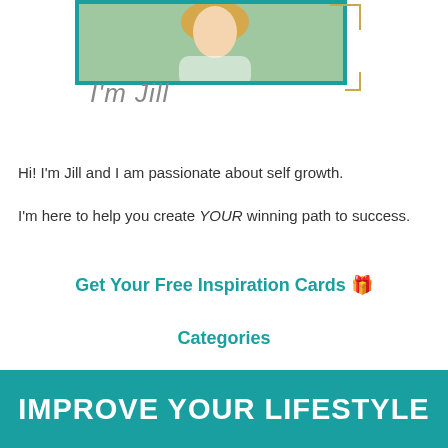[Figure (photo): Photo of Jill in a teal-bordered frame with gold corner decorations, with a handwritten-style signature reading I'm Jill below]
Hi! I'm Jill and I am passionate about self growth.
I'm here to help you create YOUR winning path to success.
Get Your Free Inspiration Cards 🎁
Categories
IMPROVE YOUR LIFESTYLE